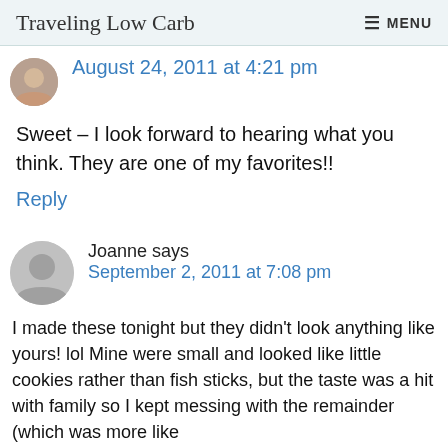Traveling Low Carb   MENU
August 24, 2011 at 4:21 pm
Sweet – I look forward to hearing what you think. They are one of my favorites!!
Reply
Joanne says
September 2, 2011 at 7:08 pm
I made these tonight but they didn't look anything like yours! lol Mine were small and looked like little cookies rather than fish sticks, but the taste was a hit with family so I kept messing with the remainder (which was more like